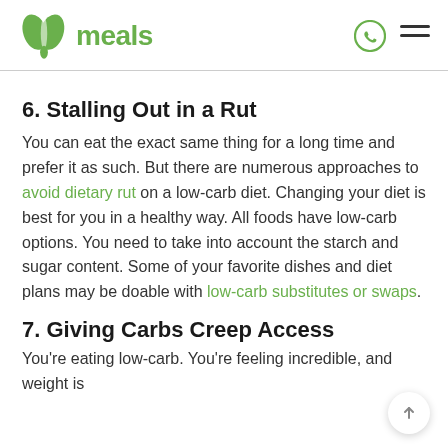meals (logo)
6. Stalling Out in a Rut
You can eat the exact same thing for a long time and prefer it as such. But there are numerous approaches to avoid dietary rut on a low-carb diet. Changing your diet is best for you in a healthy way. All foods have low-carb options. You need to take into account the starch and sugar content. Some of your favorite dishes and diet plans may be doable with low-carb substitutes or swaps.
7. Giving Carbs Creep Access
You're eating low-carb. You're feeling incredible, and weight is